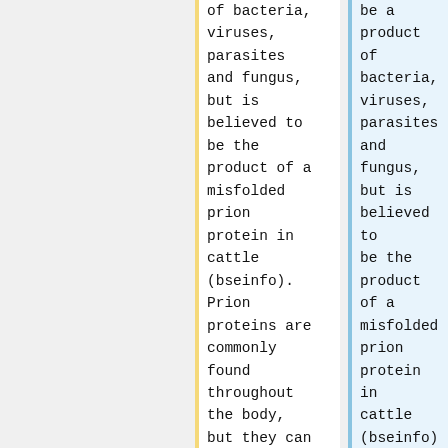of bacteria, viruses, parasites and fungus, but is believed to be the product of a misfolded prion protein in cattle (bseinfo). Prion proteins are commonly found throughout the body, but they can be transformed
be a product of bacteria, viruses, parasites and fungus, but is believed to be the product of a misfolded prion protein in cattle (bseinfo). Prion proteins are commonly found throughout the body, but they can be